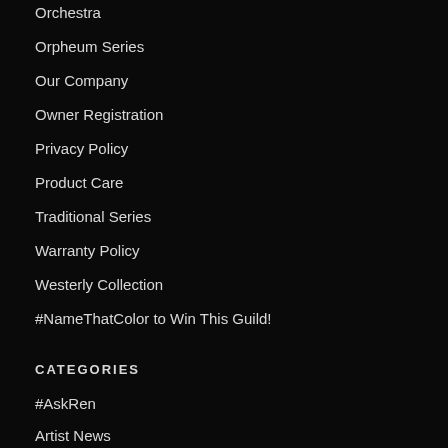Orchestra
Orpheum Series
Our Company
Owner Registration
Privacy Policy
Product Care
Traditional Series
Warranty Policy
Westerly Collection
#NameThatColor to Win This Guild!
CATEGORIES
#AskRen
Artist News